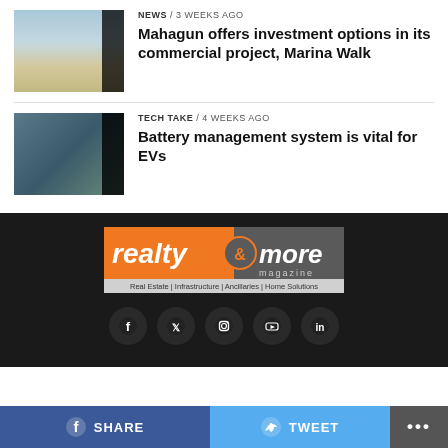[Figure (photo): Thumbnail image of a commercial building (Mahagun Marina Walk)]
NEWS / 3 weeks ago
Mahagun offers investment options in its commercial project, Marina Walk
[Figure (photo): Thumbnail image of EV charging with camera/charger equipment]
TECH TAKE / 4 weeks ago
Battery management system is vital for EVs
[Figure (logo): realty & more magazine logo — orange and grey background with text: Real Estate | Infrastructure | Ancillaries | Home Solutions]
[Figure (infographic): Social media icons: Facebook, Twitter, Instagram, YouTube, LinkedIn]
SHARE
TWEET